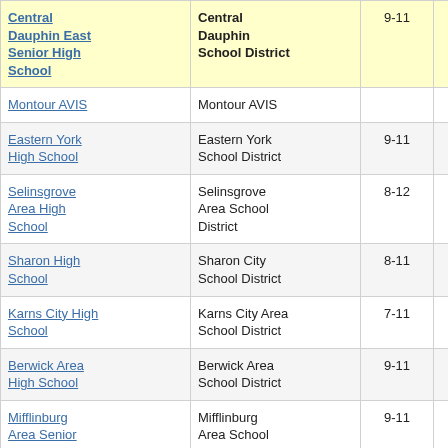| School | District | Grades | Score |
| --- | --- | --- | --- |
| Central Dauphin East Senior High School | Central Dauphin School District | 9-11 | -3.4 |
| Montour AVIS | Montour AVIS |  |  |
| Eastern York High School | Eastern York School District | 9-11 | -5.8 |
| Selinsgrove Area High School | Selinsgrove Area School District | 8-12 | -5.4 |
| Sharon High School | Sharon City School District | 8-11 | -6.0 |
| Karns City High School | Karns City Area School District | 7-11 | -6.9 |
| Berwick Area High School | Berwick Area School District | 9-11 | -6.4 |
| Mifflinburg Area Senior High School | Mifflinburg Area School District | 9-11 | -5.5 |